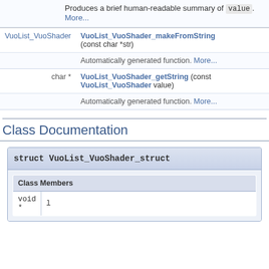Produces a brief human-readable summary of value. More...
| Return | Function |
| --- | --- |
| VuoList_VuoShader | VuoList_VuoShader_makeFromString (const char *str) |
|  | Automatically generated function. More... |
| char * | VuoList_VuoShader_getString (const VuoList_VuoShader value) |
|  | Automatically generated function. More... |
Class Documentation
| struct VuoList_VuoShader_struct |
| --- |
| Class Members |
| void * | l |